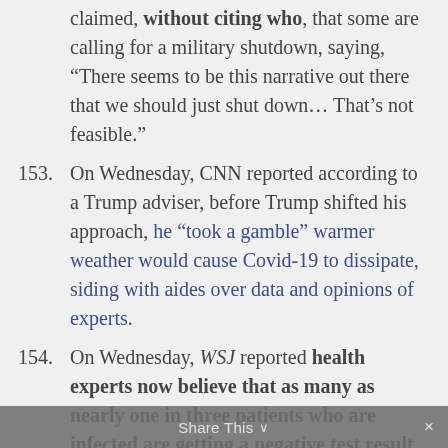claimed, without citing who, that some are calling for a military shutdown, saying, “There seems to be this narrative out there that we should just shut down… That’s not feasible.”
153. On Wednesday, CNN reported according to a Trump adviser, before Trump shifted his approach, he “took a gamble” warmer weather would cause Covid-19 to dissipate, siding with aides over data and opinions of experts.
154. On Wednesday, WSJ reported health experts now believe that as many as nearly one in three patients who are infected are getting a negative test result,
Share This ∨ ×